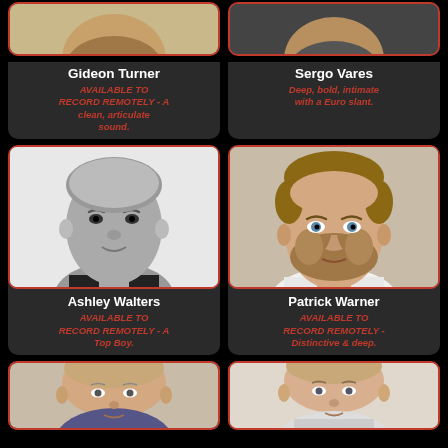[Figure (photo): Gideon Turner headshot, partial view cropped at top]
Gideon Turner
AVAILABLE TO RECORD REMOTELY - A clean, articulate sound.
[Figure (photo): Sergo Vares headshot, partial view cropped at top]
Sergo Vares
Deep, bold, intimate with a Euro slant.
[Figure (photo): Ashley Walters headshot, black and white]
Ashley Walters
AVAILABLE TO RECORD REMOTELY - A Top Boy.
[Figure (photo): Patrick Warner headshot, color]
Patrick Warner
AVAILABLE TO RECORD REMOTELY - Distinctive & deep.
[Figure (photo): Fifth person headshot, partial view at bottom, color]
[Figure (photo): Sixth person headshot, partial view at bottom, color]